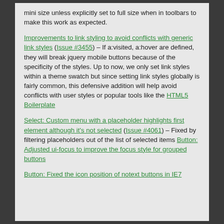mini size unless explicitly set to full size when in toolbars to make this work as expected.
Improvements to link styling to avoid conflicts with generic link styles (Issue #3455) – If a:visited, a:hover are defined, they will break jquery mobile buttons because of the specificity of the styles. Up to now, we only set link styles within a theme swatch but since setting link styles globally is fairly common, this defensive addition will help avoid conflicts with user styles or popular tools like the HTML5 Boilerplate
Select: Custom menu with a placeholder highlights first element although it's not selected (Issue #4061) – Fixed by filtering placeholders out of the list of selected items Button: Adjusted ui-focus to improve the focus style for grouped buttons
Button: Fixed the icon position of notext buttons in IE7